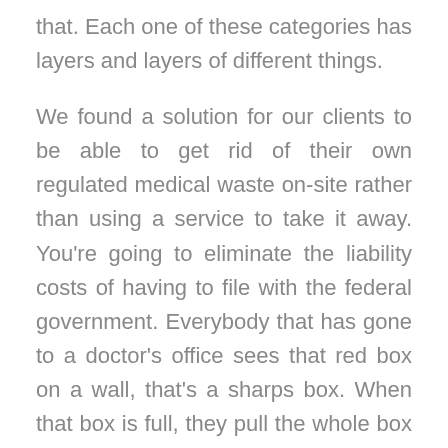that. Each one of these categories has layers and layers of different things.
We found a solution for our clients to be able to get rid of their own regulated medical waste on-site rather than using a service to take it away. You're going to eliminate the liability costs of having to file with the federal government. Everybody that has gone to a doctor's office sees that red box on a wall, that's a sharps box. When that box is full, they pull the whole box off. They don't empty the box. The whole sharps box comes off. It must be regulated and removed by a proper waste system. We have a device that you can put that into. It sanitizes it at 137 degrees centigrade, grinds it, and you can put